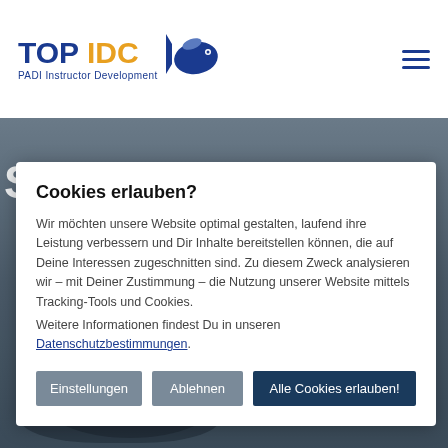[Figure (logo): TOP IDC PADI Instructor Development logo with fish icon]
[Figure (illustration): Hamburger menu icon (three horizontal lines)]
S
Cookies erlauben?
Wir möchten unsere Website optimal gestalten, laufend ihre Leistung verbessern und Dir Inhalte bereitstellen können, die auf Deine Interessen zugeschnitten sind. Zu diesem Zweck analysieren wir – mit Deiner Zustimmung – die Nutzung unserer Website mittels Tracking-Tools und Cookies.
Weitere Informationen findest Du in unseren Datenschutzbestimmungen.
Einstellungen
Ablehnen
Alle Cookies erlauben!
[Figure (photo): Underwater diving scene showing scuba diver]